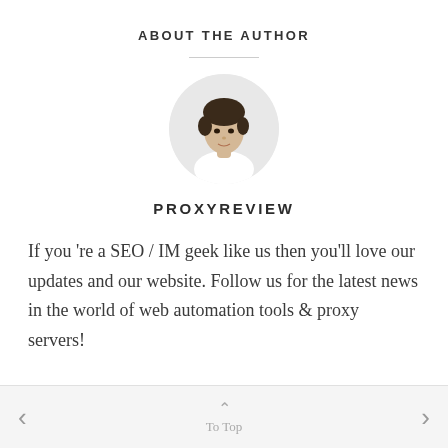ABOUT THE AUTHOR
[Figure (photo): Circular avatar photo of a young man with dark hair wearing a white t-shirt, on a light background]
PROXYREVIEW
If you 're a SEO / IM geek like us then you'll love our updates and our website. Follow us for the latest news in the world of web automation tools & proxy servers!
< To Top >